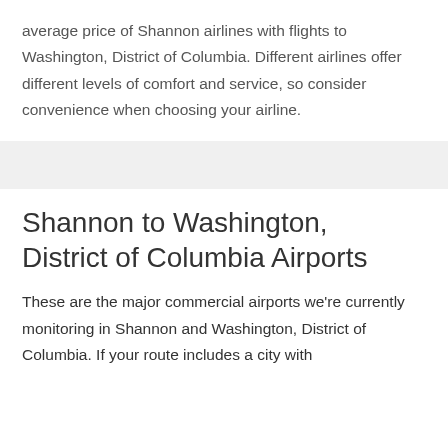average price of Shannon airlines with flights to Washington, District of Columbia. Different airlines offer different levels of comfort and service, so consider convenience when choosing your airline.
Shannon to Washington, District of Columbia Airports
These are the major commercial airports we're currently monitoring in Shannon and Washington, District of Columbia. If your route includes a city with